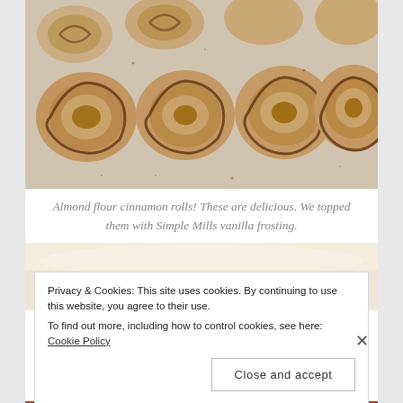[Figure (photo): Overhead view of almond flour cinnamon rolls on a light surface dusted with cinnamon sugar, showing spiral swirl pattern on each roll.]
Almond flour cinnamon rolls! These are delicious. We topped them with Simple Mills vanilla frosting.
[Figure (photo): Partial view of a second food photo, appears to be a light/cream colored dish or food item.]
Privacy & Cookies: This site uses cookies. By continuing to use this website, you agree to their use. To find out more, including how to control cookies, see here: Cookie Policy
Close and accept